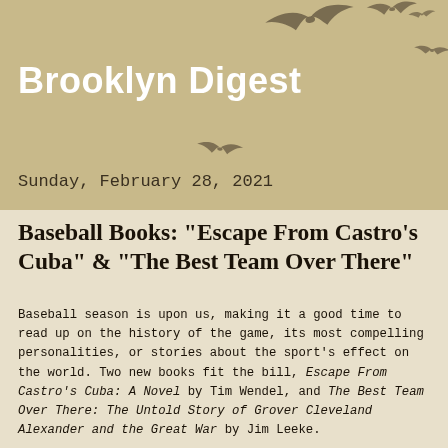Brooklyn Digest
[Figure (illustration): Silhouettes of birds flying in a diagonal pattern across the header]
Sunday, February 28, 2021
Baseball Books: "Escape From Castro's Cuba" & "The Best Team Over There"
Baseball season is upon us, making it a good time to read up on the history of the game, its most compelling personalities, or stories about the sport's effect on the world. Two new books fit the bill, Escape From Castro's Cuba: A Novel by Tim Wendel, and The Best Team Over There: The Untold Story of Grover Cleveland Alexander and the Great War by Jim Leeke.